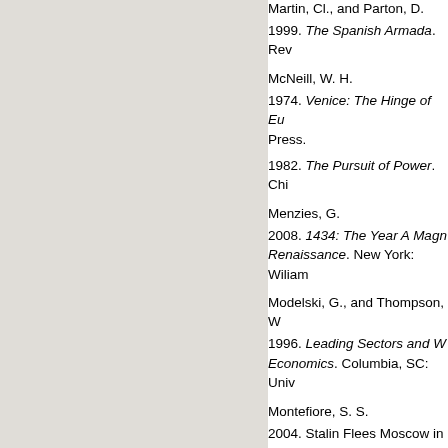Martin, Cl., and Parton, D.
1999. The Spanish Armada. Rev...
McNeill, W. H.
1974. Venice: The Hinge of Eu... Press.
1982. The Pursuit of Power. Chi...
Menzies, G.
2008. 1434: The Year A Magn... Renaissance. New York: Wiliam...
Modelski, G., and Thompson, W...
1996. Leading Sectors and W... Economics. Columbia, SC: Univ...
Montefiore, S. S.
2004. Stalin Flees Moscow in... Leading Historians on Twelve 'W... and Nicolson.
Murray, W.
2000. What a Taxi Driver Wroug...
O'Connell, R. L.